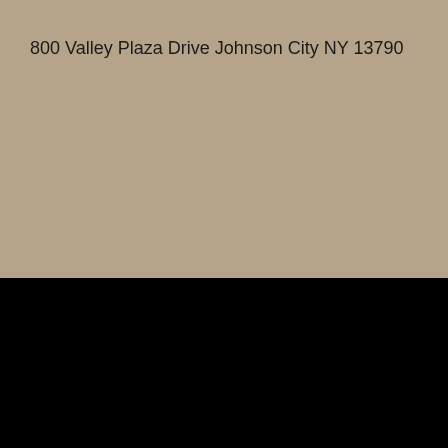800 Valley Plaza Drive Johnson City NY 13790
HOME | ABOUT US | CONTACT US | SPOTLIGHT | ONLINE SHOP POLICY | SITE MAP | Terms and Conditions
Copyright © 2007-2022 - Southern Tier Sewing Center Website Design by Like Sew Websites